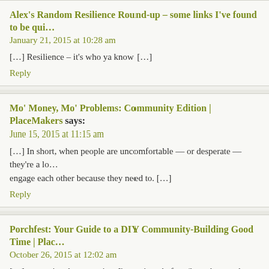Alex's Random Resilience Round-up – some links I've found to be qui…
January 21, 2015 at 10:28 am
[…] Resilience – it's who ya know […]
Reply
Mo' Money, Mo' Problems: Community Edition | PlaceMakers says:
June 15, 2015 at 11:15 am
[…] In short, when people are uncomfortable — or desperate — they're a lo… engage each other because they need to. […]
Reply
Porchfest: Your Guide to a DIY Community-Building Good Time | Plac…
October 26, 2015 at 12:02 am
[…] a vocational perspective, I've written before (here, here and here, for ex…
Reply
Making Sense of Community | PlaceMakers says:
March 1, 2016 at 10:56 am
[…] Some of community right here, but also community itself is in R…